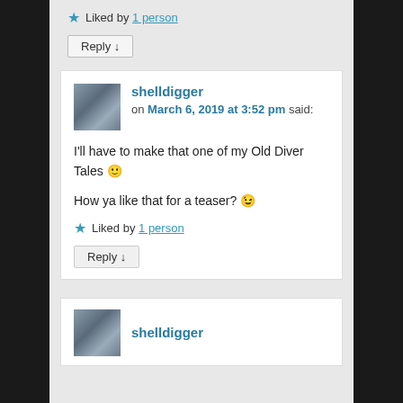★ Liked by 1 person
Reply ↓
shelldigger on March 6, 2019 at 3:52 pm said:
I'll have to make that one of my Old Diver Tales 🙂
How ya like that for a teaser? 😉
★ Liked by 1 person
Reply ↓
shelldigger